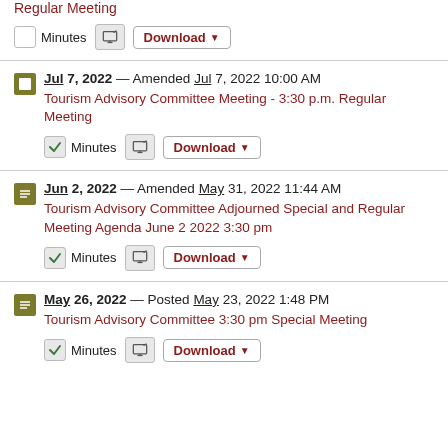Regular Meeting
Minutes | Download
Jul 7, 2022 — Amended Jul 7, 2022 10:00 AM
Tourism Advisory Committee Meeting - 3:30 p.m. Regular Meeting
Minutes | Download
Jun 2, 2022 — Amended May 31, 2022 11:44 AM
Tourism Advisory Committee Adjourned Special and Regular Meeting Agenda June 2 2022 3:30 pm
Minutes | Download
May 26, 2022 — Posted May 23, 2022 1:48 PM
Tourism Advisory Committee 3:30 pm Special Meeting
Minutes | Download